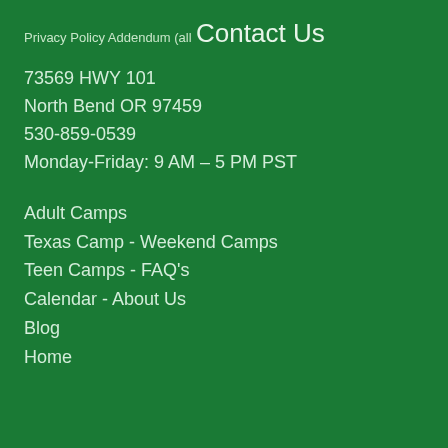Privacy Policy Addendum (all
Contact Us
73569 HWY 101
North Bend OR 97459
530-859-0539
Monday-Friday: 9 AM – 5 PM PST
Adult Camps
Texas Camp - Weekend Camps
Teen Camps - FAQ's
Calendar - About Us
Blog
Home